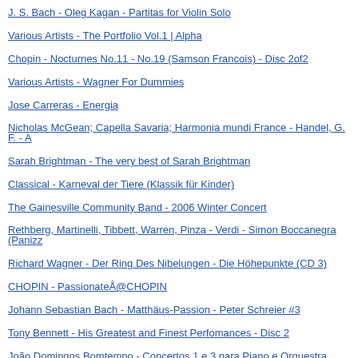J. S. Bach - Oleg Kagan - Partitas for Violin Solo
Various Artists - The Portfolio Vol.1 | Alpha
Chopin - Nocturnes No.11 - No.19 (Samson Francois) - Disc 2of2
Various Artists - Wagner For Dummies
Jose Carreras - Energia
Nicholas McGean; Capella Savaria; Harmonia mundi France - Handel, G. F. - A
Sarah Brightman - The very best of Sarah Brightman
Classical - Karneval der Tiere (Klassik für Kinder)
The Gainesville Community Band - 2006 Winter Concert
Rethberg, Martinelli, Tibbett, Warren, Pinza - Verdi - Simon Boccanegra (Panizz
Richard Wagner - Der Ring Des Nibelungen - Die Höhepunkte (CD 3)
CHOPIN - PassionateÅ@CHOPIN
Johann Sebastian Bach - Matthäus-Passion - Peter Schreier #3
Tony Bennett - His Greatest and Finest Perfomances - Disc 2
João Domingos Bomtempo - Concertos 1 e 3 para Piano e Orquestra